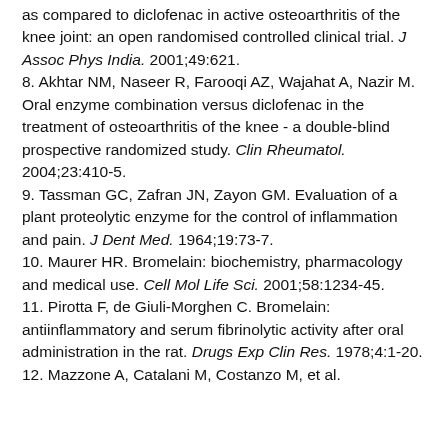as compared to diclofenac in active osteoarthritis of the knee joint: an open randomised controlled clinical trial. J Assoc Phys India. 2001;49:621.
8. Akhtar NM, Naseer R, Farooqi AZ, Wajahat A, Nazir M. Oral enzyme combination versus diclofenac in the treatment of osteoarthritis of the knee - a double-blind prospective randomized study. Clin Rheumatol. 2004;23:410-5.
9. Tassman GC, Zafran JN, Zayon GM. Evaluation of a plant proteolytic enzyme for the control of inflammation and pain. J Dent Med. 1964;19:73-7.
10. Maurer HR. Bromelain: biochemistry, pharmacology and medical use. Cell Mol Life Sci. 2001;58:1234-45.
11. Pirotta F, de Giuli-Morghen C. Bromelain: antiinflammatory and serum fibrinolytic activity after oral administration in the rat. Drugs Exp Clin Res. 1978;4:1-20.
12. Mazzone A, Catalani M, Costanzo M, et al.